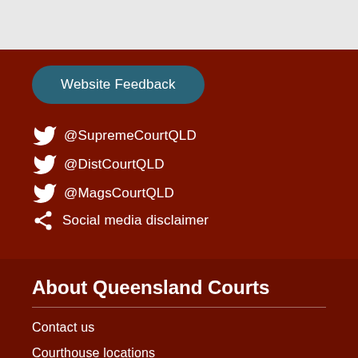Website Feedback
@SupremeCourtQLD
@DistCourtQLD
@MagsCourtQLD
Social media disclaimer
About Queensland Courts
Contact us
Courthouse locations
Working in the courts
Back to Top